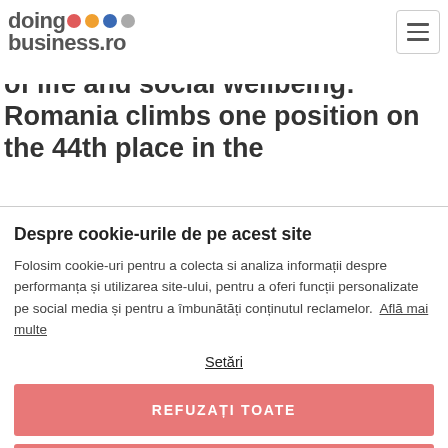doingbusiness.ro [logo with colored dots]
Index analyzing the quality of life and social wellbeing: Romania climbs one position on the 44th place in the
Despre cookie-urile de pe acest site
Folosim cookie-uri pentru a colecta si analiza informații despre performanța și utilizarea site-ului, pentru a oferi funcții personalizate pe social media și pentru a îmbunătăți conținutul reclamelor. Află mai multe
Setări
REFUZAȚI TOATE
PERMITE COOKIE-URI